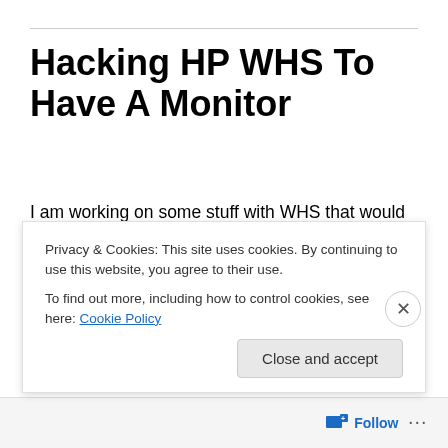Hacking HP WHS To Have A Monitor
I am working on some stuff with WHS that would require me to have access to the bios and POST screens on my WHS, but unfortunately there is no video output on the HP machines.
Thankfully, cakalapati has started making cables that connect into a port inside the HPs
Privacy & Cookies: This site uses cookies. By continuing to use this website, you agree to their use.
To find out more, including how to control cookies, see here: Cookie Policy